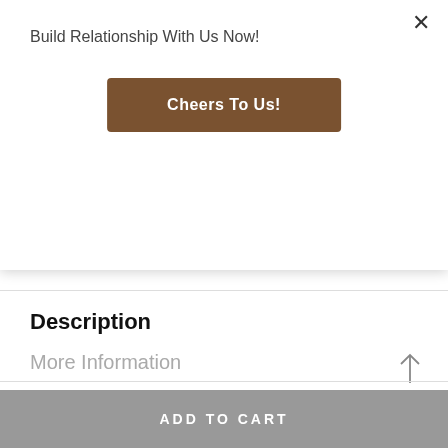Build Relationship With Us Now!
Cheers To Us!
[Figure (other): Social media share icons: Facebook (f), Twitter (bird), Pinterest (P circle)]
Description
More Information
Reviews (0)
ADD TO CART